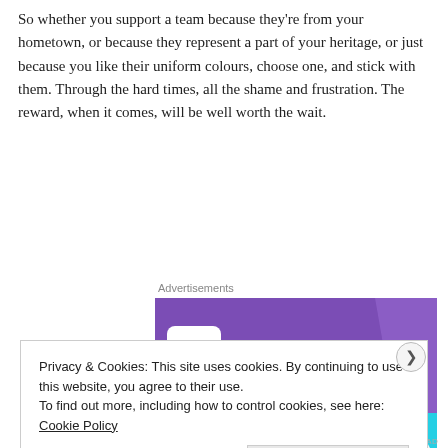So whether you support a team because they're from your hometown, or because they represent a part of your heritage, or just because you like their uniform colours, choose one, and stick with them. Through the hard times, all the shame and frustration. The reward, when it comes, will be well worth the wait.
Advertisements
[Figure (screenshot): WooCommerce advertisement banner showing the WooCommerce logo on a purple background with teal triangular accents, and the text 'How to start selling' in bold below on a light background.]
Privacy & Cookies: This site uses cookies. By continuing to use this website, you agree to their use.
To find out more, including how to control cookies, see here: Cookie Policy
Close and accept